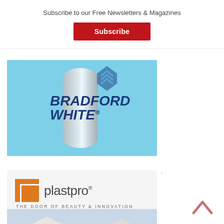Subscribe to our Free Newsletters & Magazines
Subscribe
[Figure (logo): Bradford White water heater advertisement with blue background, silver tank, and blue italic bold logo text reading BRADFORD WHITE]
[Figure (logo): Plastpro advertisement with white/grey background, orange door icon, plastpro logo text with registered mark, tagline THE DOOR OF BEAUTY & INNOVATION, and house exterior photo below]
×
^